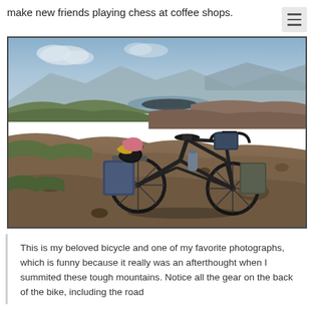make new friends playing chess at coffee shops.
[Figure (photo): A loaded touring bicycle lying on its side on a rocky mountain path, with an expansive mountain valley and distant blue hills visible in the background under a partly cloudy sky.]
This is my beloved bicycle and one of my favorite photographs, which is funny because it really was an afterthought when I summited these tough mountains. Notice all the gear on the back of the bike, including the road